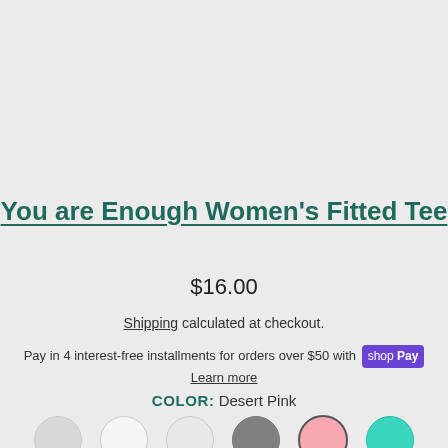You are Enough Women’s Fitted Tee
$16.00
Shipping calculated at checkout.
Pay in 4 interest-free installments for orders over $50 with shop Pay
Learn more
COLOR:  Desert Pink
[Figure (illustration): Six color swatches in circles: light gray, white, very light gray, dark gray, desert pink (selected with dark border), teal]